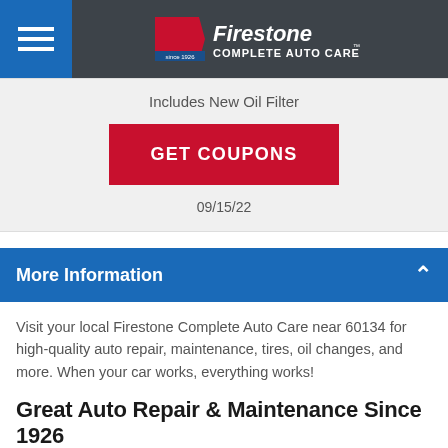Firestone Complete Auto Care
Includes New Oil Filter
GET COUPONS
09/15/22
More Information
Visit your local Firestone Complete Auto Care near 60134 for high-quality auto repair, maintenance, tires, oil changes, and more. When your car works, everything works!
Great Auto Repair & Maintenance Since 1926
Squeaky brakes, troubling dashboard lights, or TPMS light, we can handle it. Head to the nearest Firestone Complete Auto Care